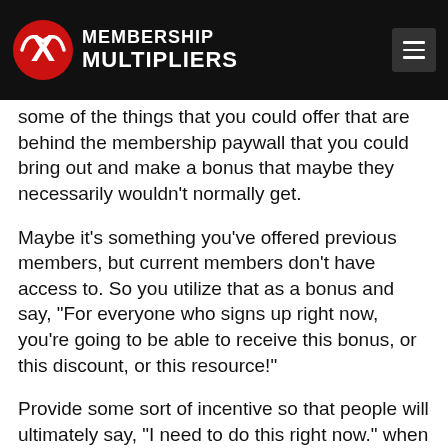MEMBERSHIP MULTIPLIERS
some of the things that you could offer that are behind the membership paywall that you could bring out and make a bonus that maybe they necessarily wouldn't normally get.
Maybe it's something you've offered previous members, but current members don't have access to. So you utilize that as a bonus and say, "For everyone who signs up right now, you're going to be able to receive this bonus, or this discount, or this resource!"
Provide some sort of incentive so that people will ultimately say, "I need to do this right now." when they look at your sales page.